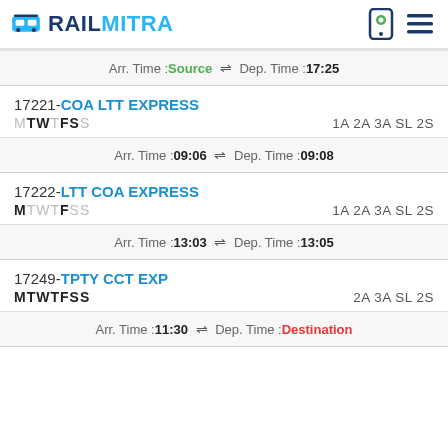RAILMITRA
Arr. Time :Source ⇌ Dep. Time :17:25
17221-COA LTT EXPRESS MTWTFSS 1A 2A 3A SL 2S Arr. Time :09:06 ⇌ Dep. Time :09:08
17222-LTT COA EXPRESS MTWTFSS 1A 2A 3A SL 2S Arr. Time :13:03 ⇌ Dep. Time :13:05
17249-TPTY CCT EXP MTWTFSS 2A 3A SL 2S Arr. Time :11:30 ⇌ Dep. Time :Destination